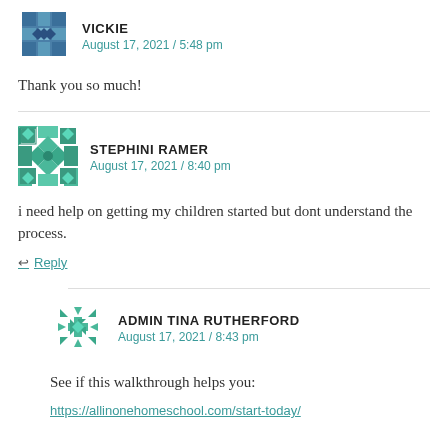[Figure (illustration): User avatar icon - blue geometric/quilt pattern square icon for VICKIE]
VICKIE
August 17, 2021 / 5:48 pm
Thank you so much!
[Figure (illustration): User avatar icon - green/teal geometric quilt pattern square icon for STEPHINI RAMER]
STEPHINI RAMER
August 17, 2021 / 8:40 pm
i need help on getting my children started but dont understand the process.
Reply
[Figure (illustration): User avatar icon - green snowflake/star geometric icon for ADMIN TINA RUTHERFORD]
ADMIN TINA RUTHERFORD
August 17, 2021 / 8:43 pm
See if this walkthrough helps you:
https://allinonehomeschool.com/start-today/